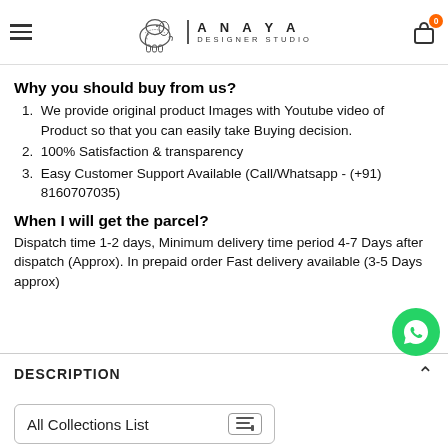ANAYA DESIGNER STUDIO
Why you should buy from us?
We provide original product Images with Youtube video of Product so that you can easily take Buying decision.
100% Satisfaction & transparency
Easy Customer Support Available (Call/Whatsapp - (+91) 8160707035)
When I will get the parcel?
Dispatch time 1-2 days, Minimum delivery time period 4-7 Days after dispatch (Approx). In prepaid order Fast delivery available (3-5 Days approx)
DESCRIPTION
All Collections List